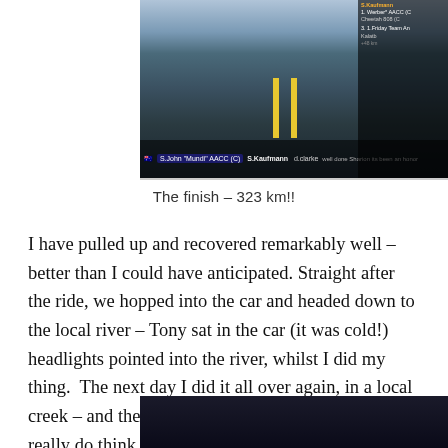[Figure (screenshot): Screenshot from a virtual cycling game/app showing cyclists on a road with HUD overlay displaying rider names including S.Kaufmann and d.clarke, with leaderboard on the right side.]
The finish – 323 km!!
I have pulled up and recovered remarkably well – better than I could have anticipated. Straight after the ride, we hopped into the car and headed down to the local river – Tony sat in the car (it was cold!) headlights pointed into the river, whilst I did my thing.  The next day I did it all over again, in a local creek – and then I had a second go in the ocean.  I really do think the cryotherapy (!!) numbed my knee into a quick remission!
[Figure (screenshot): Partial screenshot at bottom of page showing a dark cycling scene.]